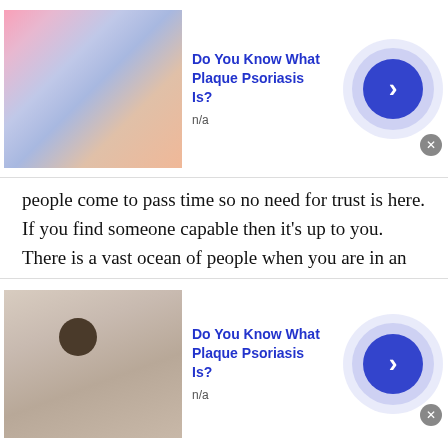[Figure (other): Top advertisement banner: image of skin/psoriasis on left, 'Do You Know What Plaque Psoriasis Is?' title in blue, 'n/a' subtitle, blue circular arrow button on right, close X button]
people come to pass time so no need for trust is here. If you find someone capable then it's up to you. There is a vast ocean of people when you are in an American International Chat room, in every chatroom from which you can choose and have exciting conversations.
A good alternative for leisure time
For the past year, people have been locked in houses and their activities are very limited. They want a good alternative for their daily routine. People bound inside
[Figure (other): Bottom advertisement banner: image of skin with mole on left, 'Do You Know What Plaque Psoriasis Is?' title in blue, 'n/a' subtitle, blue circular arrow button on right, close X button]